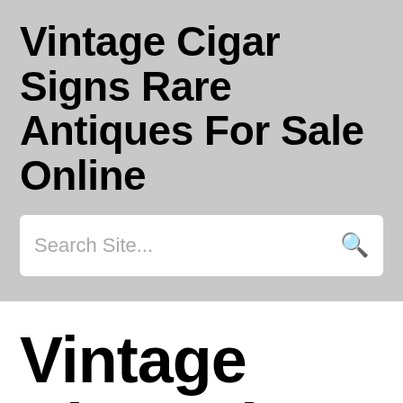Vintage Cigar Signs Rare Antiques For Sale Online
Search Site...
Vintage Cigar Signs